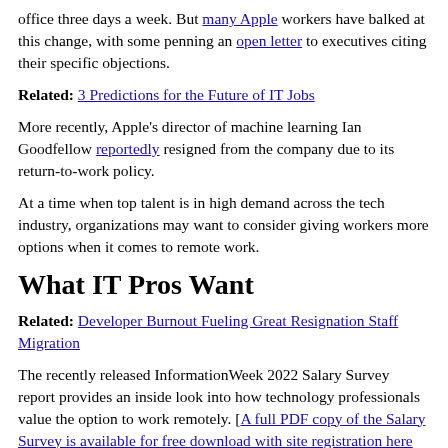office three days a week. But many Apple workers have balked at this change, with some penning an open letter to executives citing their specific objections.
Related: 3 Predictions for the Future of IT Jobs
More recently, Apple's director of machine learning Ian Goodfellow reportedly resigned from the company due to its return-to-work policy.
At a time when top talent is in high demand across the tech industry, organizations may want to consider giving workers more options when it comes to remote work.
What IT Pros Want
Related: Developer Burnout Fueling Great Resignation Staff Migration
The recently released InformationWeek 2022 Salary Survey report provides an inside look into how technology professionals value the option to work remotely. [A full PDF copy of the Salary Survey is available for free download with site registration here and also provides insights into IT salaries, skills, and more.]